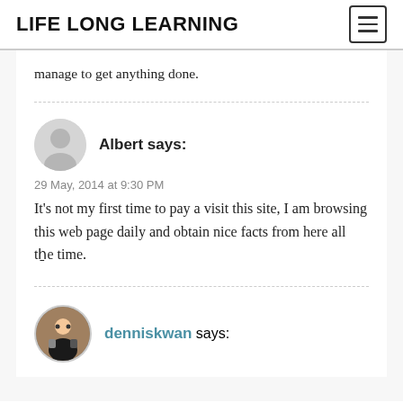LIFE LONG LEARNING
manage to get anything done.
Albert says:
29 May, 2014 at 9:30 PM
It’s not my first time to pay a visit this site, I am browsing this web page daily and obtain nice facts from here all the time.
denniskwan says: